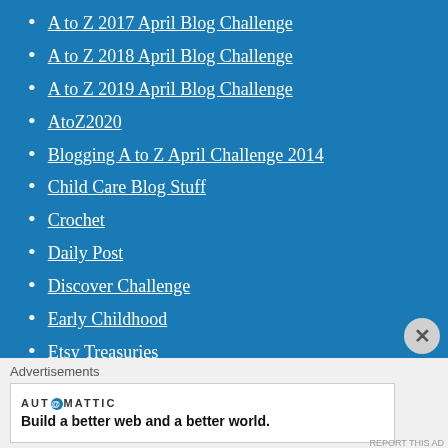A to Z 2017 April Blog Challenge
A to Z 2018 April Blog Challenge
A to Z 2019 April Blog Challenge
AtoZ2020
Blogging A to Z April Challenge 2014
Child Care Blog Stuff
Crochet
Daily Post
Discover Challenge
Early Childhood
Etsy Treasuries
Free Tip Friday
Gardening
Inez's Clippings
Advertisements
AUTOMATTIC
Build a better web and a better world.